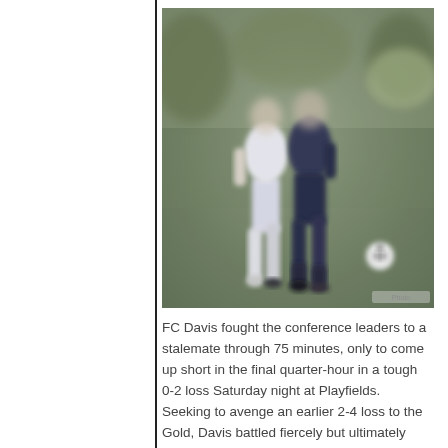[Figure (photo): Two soccer players competing for the ball on a grass field. One player in white/light kit and another in dark navy kit are battling for possession, with a soccer ball visible in the background to the right.]
FC Davis fought the conference leaders to a stalemate through 75 minutes, only to come up short in the final quarter-hour in a tough 0-2 loss Saturday night at Playfields. Seeking to avenge an earlier 2-4 loss to the Gold, Davis battled fiercely but ultimately were unable to find the back of the net.